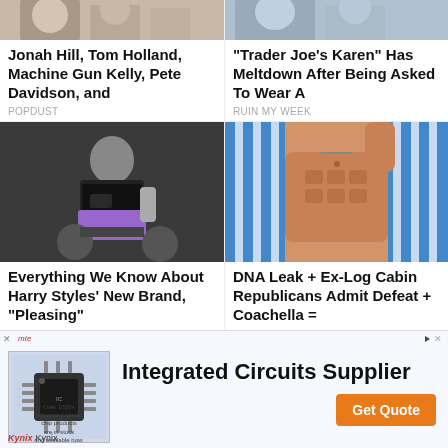[Figure (photo): Partial top image left - people, cropped at top]
Jonah Hill, Tom Holland, Machine Gun Kelly, Pete Davidson, and
POPDUST
[Figure (photo): Partial top image right - people, cropped at top]
"Trader Joe's Karen" Has Meltdown After Being Asked To Wear A
RUIN MY WEEK
[Figure (photo): Harry Styles posing with motorcycle, black crop top, tattoos, dark background]
Everything We Know About Harry Styles' New Brand, "Pleasing"
THE JOURNIEST
[Figure (photo): Shirtless muscular man with blue striped towel overhead]
DNA Leak + Ex-Log Cabin Republicans Admit Defeat + Coachella =
BOY CULTURE
powered by PubExchange
[Figure (other): Advertisement: Kynix Integrated Circuits Supplier with Get Quote button]